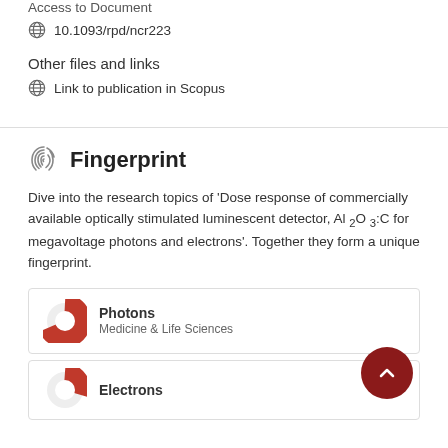Access to Document
10.1093/rpd/ncr223
Other files and links
Link to publication in Scopus
Fingerprint
Dive into the research topics of 'Dose response of commercially available optically stimulated luminescent detector, Al₂O₃:C for megavoltage photons and electrons'. Together they form a unique fingerprint.
Photons
Medicine & Life Sciences
Electrons